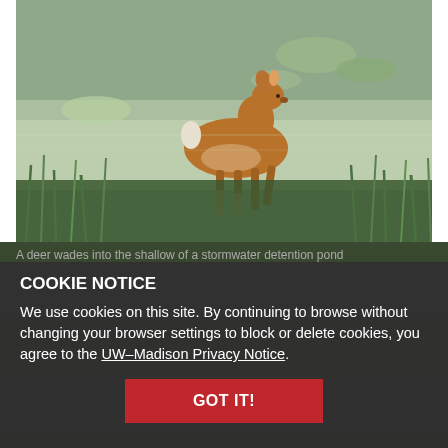[Figure (photo): A deer wading through the shallow water of a stormwater detention pond, surrounded by aquatic plants and tall grasses.]
A deer wades into the shallow of a stormwater detention pond
COOKIE NOTICE
We use cookies on this site. By continuing to browse without changing your browser settings to block or delete cookies, you agree to the UW–Madison Privacy Notice.
GOT IT!